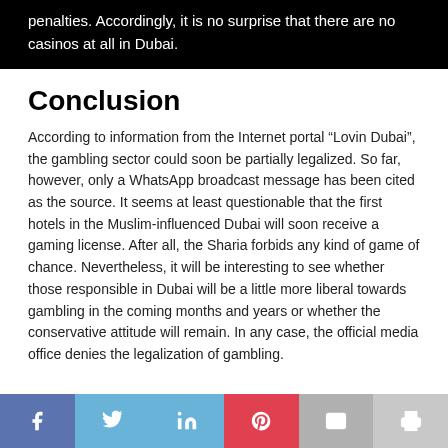penalties. Accordingly, it is no surprise that there are no casinos at all in Dubai.
Conclusion
According to information from the Internet portal “Lovin Dubai”, the gambling sector could soon be partially legalized. So far, however, only a WhatsApp broadcast message has been cited as the source. It seems at least questionable that the first hotels in the Muslim-influenced Dubai will soon receive a gaming license. After all, the Sharia forbids any kind of game of chance. Nevertheless, it will be interesting to see whether those responsible in Dubai will be a little more liberal towards gambling in the coming months and years or whether the conservative attitude will remain. In any case, the official media office denies the legalization of gambling.